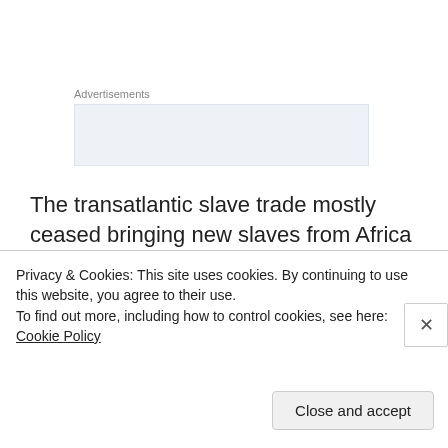Advertisements
[Figure (other): Advertisement placeholder box with light blue-grey background]
The transatlantic slave trade mostly ceased bringing new slaves from Africa by 1810. Thus, the shortest time a black American's ancestors are likely to have been on the continent is about 200 years. Since which the United States received massive waves of European immigration from Ireland, Italy, Germany and throughout Europe in
Privacy & Cookies: This site uses cookies. By continuing to use this website, you agree to their use.
To find out more, including how to control cookies, see here: Cookie Policy
Close and accept